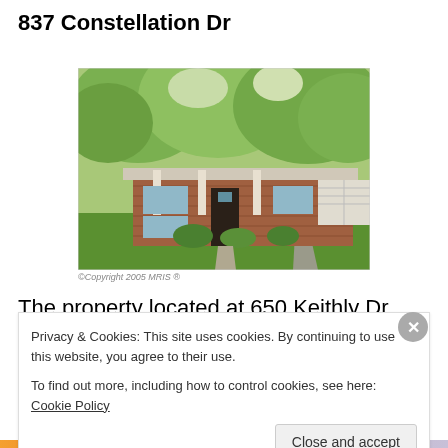837 Constellation Dr
[Figure (photo): Exterior photo of a single-story brick ranch house with white columns, surrounded by green trees and lawn.]
©Copyright 2005 MRIS ®
The property located at 650 Keithly Dr. Great Falls,
Virginia 22066 was listed for sale on 12/25/12 for
Privacy & Cookies: This site uses cookies. By continuing to use this website, you agree to their use.
To find out more, including how to control cookies, see here: Cookie Policy
Close and accept